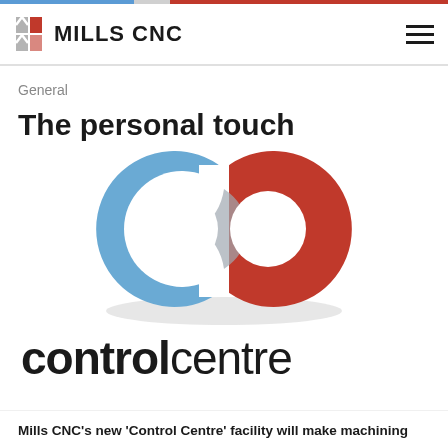MILLS CNC
General
The personal touch
[Figure (logo): Mills CNC Control Centre logo: two interlocking C-shapes, one blue (left) and one red (right), with a grey overlap area in the centre, followed by the text 'controlcentre' in large bold/regular black type]
Mills CNC's new 'Control Centre' facility will make machining